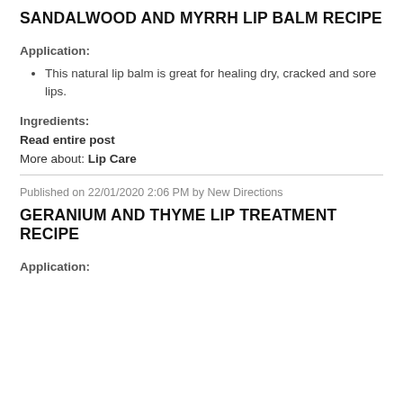SANDALWOOD AND MYRRH LIP BALM RECIPE
Application:
This natural lip balm is great for healing dry, cracked and sore lips.
Ingredients:
Read entire post
More about: Lip Care
Published on 22/01/2020 2:06 PM by New Directions
GERANIUM AND THYME LIP TREATMENT RECIPE
Application: